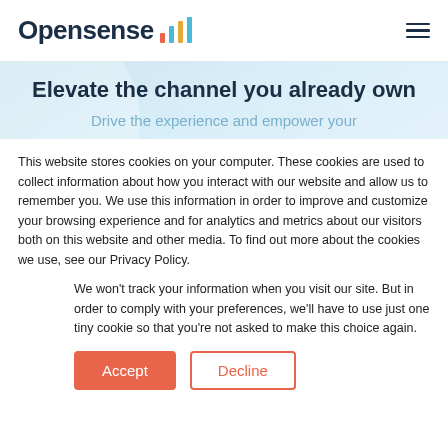Opensense
Elevate the channel you already own
Drive the experience and empower your
This website stores cookies on your computer. These cookies are used to collect information about how you interact with our website and allow us to remember you. We use this information in order to improve and customize your browsing experience and for analytics and metrics about our visitors both on this website and other media. To find out more about the cookies we use, see our Privacy Policy.
We won't track your information when you visit our site. But in order to comply with your preferences, we'll have to use just one tiny cookie so that you're not asked to make this choice again.
Accept | Decline